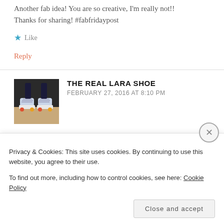Another fab idea! You are so creative, I'm really not!! Thanks for sharing! #fabfridaypost
★ Like
Reply
THE REAL LARA SHOE
FEBRUARY 27, 2016 AT 8:10 PM
Awww thanks.
Privacy & Cookies: This site uses cookies. By continuing to use this website, you agree to their use. To find out more, including how to control cookies, see here: Cookie Policy
Close and accept